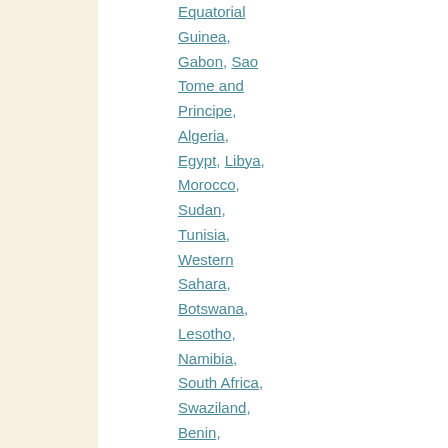Equatorial Guinea,
Gabon,
Sao Tome and Principe,
Algeria,
Egypt,
Libya,
Morocco,
Sudan,
Tunisia,
Western Sahara,
Botswana,
Lesotho,
Namibia,
South Africa,
Swaziland,
Benin,
Burkina Faso,
Cape Verde,
Ivory Coast,